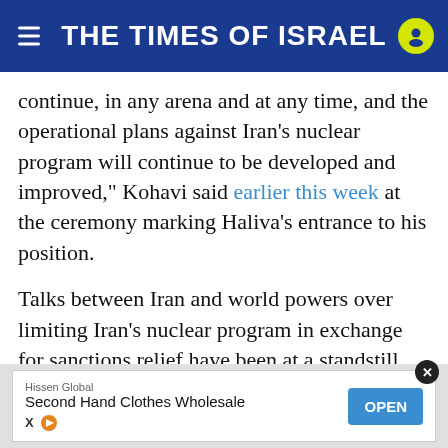THE TIMES OF ISRAEL
continue, in any arena and at any time, and the operational plans against Iran’s nuclear program will continue to be developed and improved,” Kohavi said earlier this week at the ceremony marking Haliva’s entrance to his position.
Talks between Iran and world powers over limiting Iran’s nuclear program in exchange for sanctions relief have been at a standstill since June. But Foreign Ministry spokesman Saeed Khatibzadeh said on Monday that Iran foresees talks with world powers aimed at reviving its nuclear deal resuming by early November.
[Figure (other): Advertisement banner: Hissen Global - Second Hand Clothes Wholesale, with OPEN button]